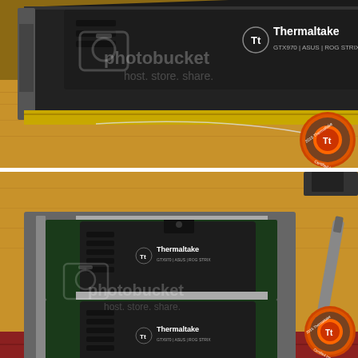[Figure (photo): Top photo: A Thermaltake water cooling block installed on an ASUS STRIX GTX 970 graphics card, lying on a wooden table/red tile floor. The card shows the PCIe edge connector and the Thermaltake and ASUS STRIX branding. A photobucket watermark is visible. A Thermaltake Certified Innovator 2015 badge is in the bottom-right corner.]
[Figure (photo): Bottom photo: Two ASUS STRIX GTX 970 graphics cards with Thermaltake water cooling blocks installed, lying on grey foam padding on a wooden table. A flathead screwdriver is visible on the right side. Photobucket watermark is visible. A Thermaltake Certified Innovator 2015 badge is in the bottom-right corner.]